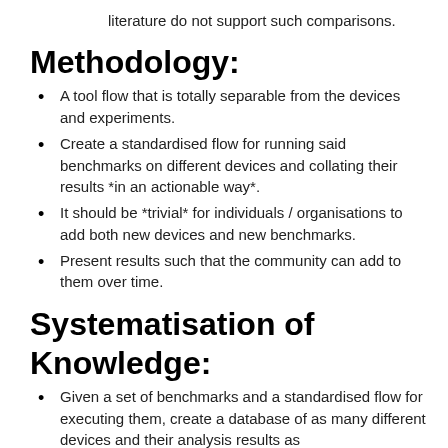literature do not support such comparisons.
Methodology:
A tool flow that is totally separable from the devices and experiments.
Create a standardised flow for running said benchmarks on different devices and collating their results *in an actionable way*.
It should be *trivial* for individuals / organisations to add both new devices and new benchmarks.
Present results such that the community can add to them over time.
Systematisation of Knowledge:
Given a set of benchmarks and a standardised flow for executing them, create a database of as many different devices and their analysis results as possible.